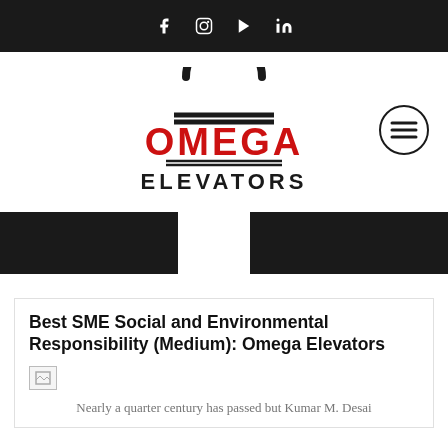Social media icons: Facebook, Instagram, YouTube, LinkedIn
[Figure (logo): Omega Elevators logo with omega symbol in black and red text reading OMEGA ELEVATORS]
[Figure (other): Hamburger menu button (three horizontal lines in circle)]
[Figure (other): Black banner with white gap/notch in the middle]
Best SME Social and Environmental Responsibility (Medium): Omega Elevators
[Figure (photo): Broken/missing image placeholder]
Nearly a quarter century has passed but Kumar M. Desai